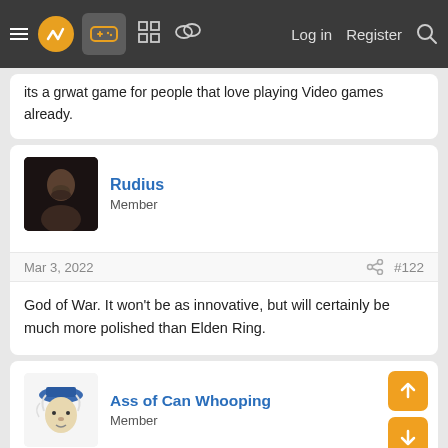Navigation bar with menu, logo, game icon, forum icons, Log in, Register, Search
its a grwat game for people that love playing Video games already.
Rudius
Member
Mar 3, 2022  #122
God of War. It won't be as innovative, but will certainly be much more polished than Elden Ring.
Ass of Can Whooping
Member
Mar 3, 2022  #123